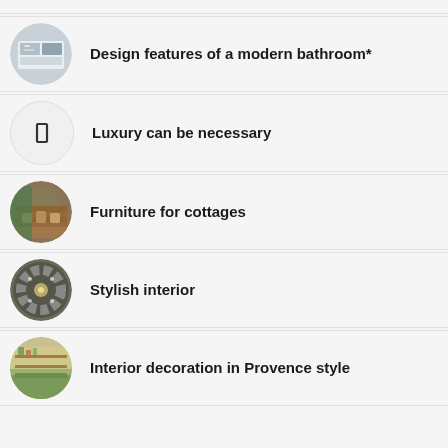Design features of a modern bathroom*
Luxury can be necessary
Furniture for cottages
Stylish interior
Interior decoration in Provence style